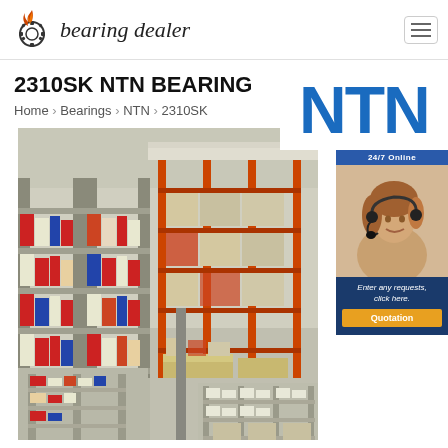bearing dealer
2310SK NTN BEARING
Home › Bearings › NTN › 2310SK
[Figure (logo): NTN brand logo in blue letters]
[Figure (photo): Large warehouse with shelving racks filled with bearing boxes and industrial parts]
[Figure (photo): 24/7 Online chat widget with customer service representative and Quotation button]